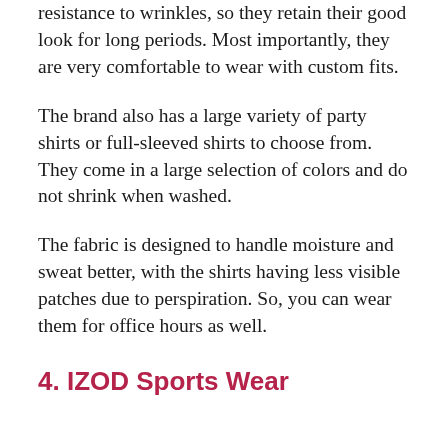The best part about their pants is their resistance to wrinkles, so they retain their good look for long periods. Most importantly, they are very comfortable to wear with custom fits.
The brand also has a large variety of party shirts or full-sleeved shirts to choose from. They come in a large selection of colors and do not shrink when washed.
The fabric is designed to handle moisture and sweat better, with the shirts having less visible patches due to perspiration. So, you can wear them for office hours as well.
4. IZOD Sports Wear